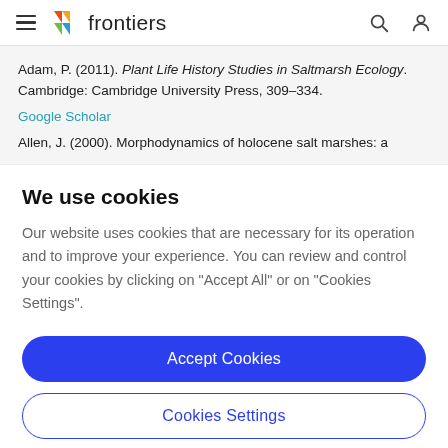frontiers
Adam, P. (2011). Plant Life History Studies in Saltmarsh Ecology. Cambridge: Cambridge University Press, 309–334.
Google Scholar
Allen, J. (2000). Morphodynamics of holocene salt marshes: a
We use cookies
Our website uses cookies that are necessary for its operation and to improve your experience. You can review and control your cookies by clicking on "Accept All" or on "Cookies Settings".
Accept Cookies
Cookies Settings